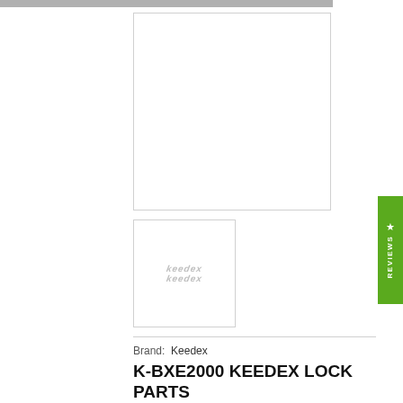[Figure (photo): Main product image area - empty white box with gray border]
[Figure (logo): Keedex brand logo thumbnail - italic stylized gray text reading Keedex]
Brand:  Keedex
K-BXE2000 KEEDEX LOCK PARTS
GATE BOX FOR EPLEX 2000 WELDABLE GATE BOX